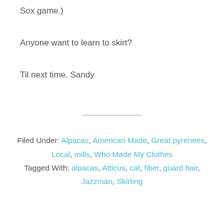Sox game.)
Anyone want to learn to skirt?
Til next time.  Sandy
Filed Under: Alpacas, American Made, Great pyrenees, Local, mills, Who Made My Clothes
Tagged With: alpacas, Atticus, cat, fiber, guard hair, Jazzman, Skirting